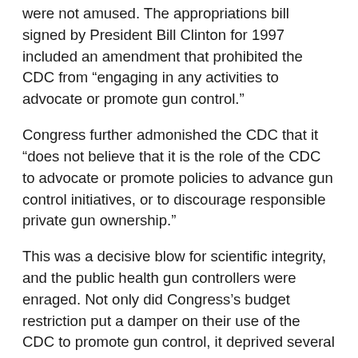were not amused. The appropriations bill signed by President Bill Clinton for 1997 included an amendment that prohibited the CDC from “engaging in any activities to advocate or promote gun control.”
Congress further admonished the CDC that it “does not believe that it is the role of the CDC to advocate or promote policies to advance gun control initiatives, or to discourage responsible private gun ownership.”
This was a decisive blow for scientific integrity, and the public health gun controllers were enraged. Not only did Congress’s budget restriction put a damper on their use of the CDC to promote gun control, it deprived several high-profile public health anti-gun researchers of their grant income. To this day, you will see major media articles about how Congress prohibited gun research at the CDC. Of course, they did no such thing, they only prohibited the use of tax...